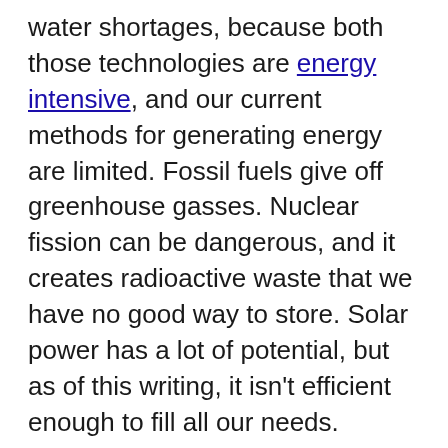water shortages, because both those technologies are energy intensive, and our current methods for generating energy are limited. Fossil fuels give off greenhouse gasses. Nuclear fission can be dangerous, and it creates radioactive waste that we have no good way to store. Solar power has a lot of potential, but as of this writing, it isn't efficient enough to fill all our needs.
Faster-than-light travel, if it's possible at all, will require vast amounts of energy. Physicists still debate exactly how much, but it's a very high number. Perhaps a mind-bogglingly high number.
Any interstellar civilization that has already cracked the problem of FTL travel means they are capable...